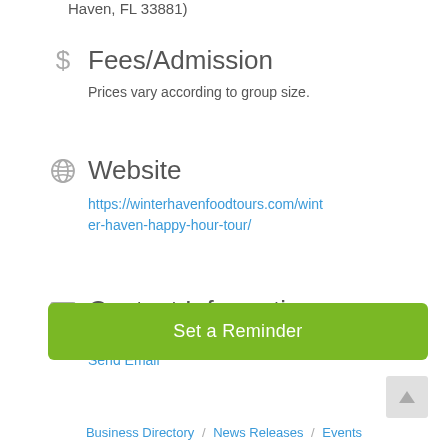Haven, FL 33881)
$ Fees/Admission
Prices vary according to group size.
Website
https://winterhavenfoodtours.com/winter-haven-happy-hour-tour/
Contact Information
Amada Anderson
Send Email
Set a Reminder
Business Directory / News Releases / Events